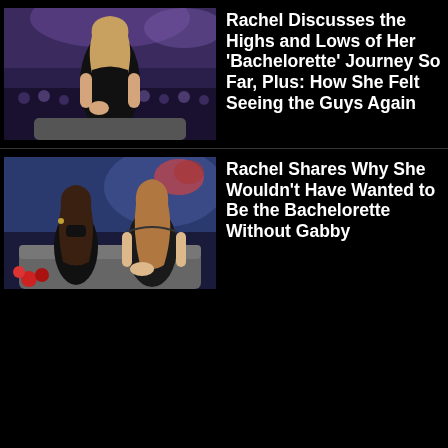[Figure (photo): Woman in black off-shoulder dress standing in a TV studio with audience in background]
Rachel Discusses the Highs and Lows of Her 'Bachelorette' Journey So Far, Plus: How She Felt Seeing the Guys Again
[Figure (photo): Two women in black outfits seated on a couch in a TV studio setting]
Rachel Shares Why She Wouldn't Have Wanted to Be the Bachelorette Without Gabby